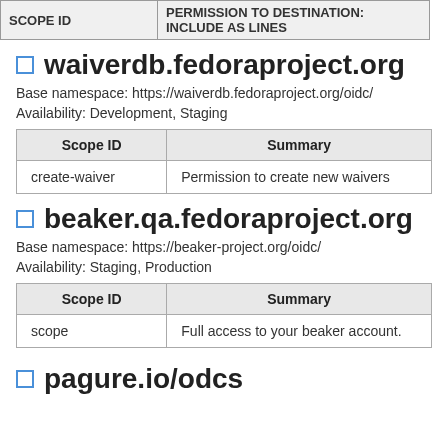| SCOPE ID | PERMISSION TO DESTINATION: INCLUDE AS LINES |
| --- | --- |
waiverdb.fedoraproject.org
Base namespace: https://waiverdb.fedoraproject.org/oidc/
Availability: Development, Staging
| Scope ID | Summary |
| --- | --- |
| create-waiver | Permission to create new waivers |
beaker.qa.fedoraproject.org
Base namespace: https://beaker-project.org/oidc/
Availability: Staging, Production
| Scope ID | Summary |
| --- | --- |
| scope | Full access to your beaker account. |
pagure.io/odcs